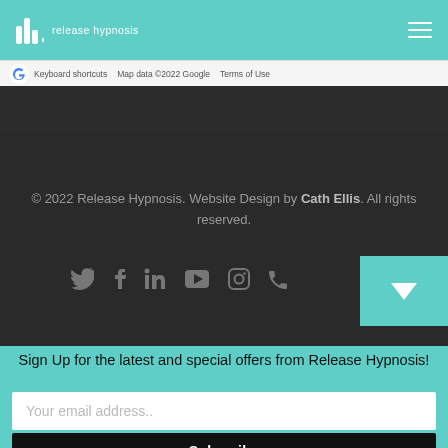release hypnosis
[Figure (screenshot): Google Maps footer bar showing Keyboard shortcuts, Map data ©2022 Google, Terms of Use]
© 2022 Release Hypnosis. Website Design by Cath Ellis. All rights reserved.
[Figure (infographic): Social media icons: Twitter, Facebook, LinkedIn, YouTube, Instagram, Phone]
Sign Up for the latest and special offers from Release Hypnosis!
Your email address..
Subscribe